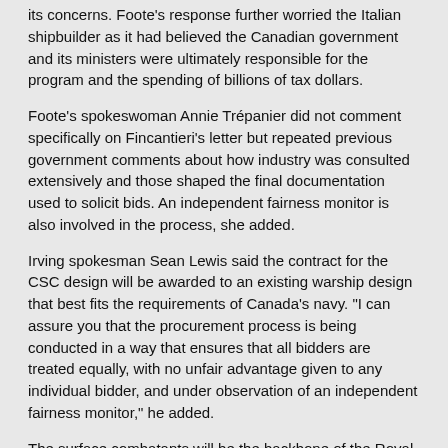its concerns. Foote's response further worried the Italian shipbuilder as it had believed the Canadian government and its ministers were ultimately responsible for the program and the spending of billions of tax dollars.
Foote's spokeswoman Annie Trépanier did not comment specifically on Fincantieri's letter but repeated previous government comments about how industry was consulted extensively and those shaped the final documentation used to solicit bids. An independent fairness monitor is also involved in the process, she added.
Irving spokesman Sean Lewis said the contract for the CSC design will be awarded to an existing warship design that best fits the requirements of Canada's navy. "I can assure you that the procurement process is being conducted in a way that ensures that all bidders are treated equally, with no unfair advantage given to any individual bidder, and under observation of an independent fairness monitor," he added.
The surface combatants will be the backbone of the Royal Canadian Navy's future fleet. The project has seen repeated delays, with the navy at one time expecting the ships by 2015. The first vessel is now planned for sometime in the early 2020s.
Initial cost estimates for the project were set at $26 billion. But that could potentially rise to more than $40 billion, depending on the number of ships constructed.